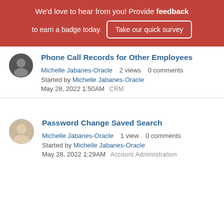We'd love to hear from you! Provide feedback to earn a badge today. Take our quick survey
Phone Call Records for Other Employees
Michelle Jabanes-Oracle  2 views  0 comments
Started by Michelle Jabanes-Oracle
May 28, 2022 1:50AM  CRM
Password Change Saved Search
Michelle Jabanes-Oracle  1 view  0 comments
Started by Michelle Jabanes-Oracle
May 28, 2022 1:29AM  Account Administration